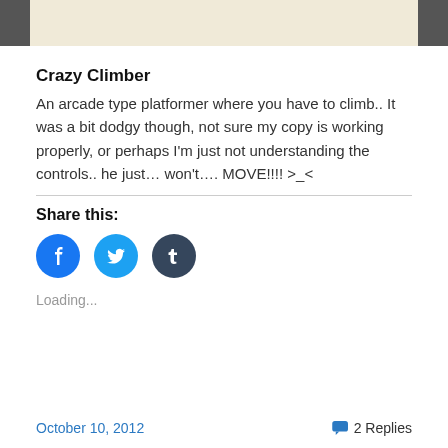[Figure (photo): Top image strip showing a partial screenshot with dark side blocks and a beige/cream center area]
Crazy Climber
An arcade type platformer where you have to climb.. It was a bit dodgy though, not sure my copy is working properly, or perhaps I'm just not understanding the controls.. he just… won't…. MOVE!!!! >_<
Share this:
[Figure (infographic): Social share icons: Facebook (blue circle with f), Twitter (light blue circle with bird), Tumblr (dark circle with t)]
Loading...
October 10, 2012    2 Replies